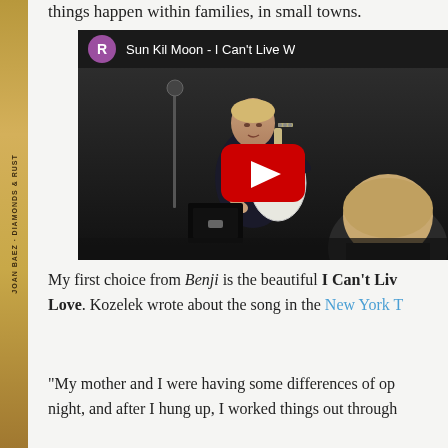things happen within families, in small towns.
[Figure (screenshot): YouTube video embed showing a concert performance. A man plays a white acoustic guitar on stage. The video title reads 'Sun Kil Moon - I Can't Live W...' with a purple R avatar icon. A red YouTube play button is overlaid on the video.]
My first choice from Benji is the beautiful I Can't Live Without My Love. Kozelek wrote about the song in the New York T
“My mother and I were having some differences of op... night, and after I hung up, I worked things out through...